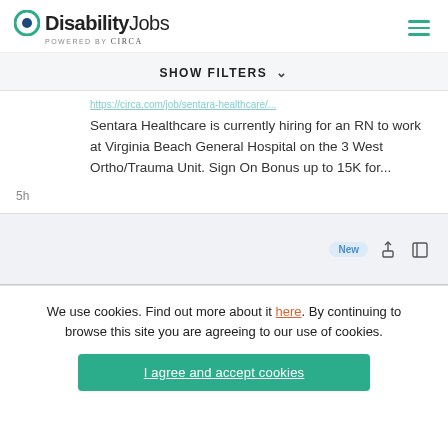[Figure (logo): DisabilityJobs logo with teal circle icon, bold text 'DisabilityJobs', 'POWERED BY Circa' subtitle, and hamburger menu icon on right]
SHOW FILTERS ∨
Sentara Healthcare is currently hiring for an RN to work at Virginia Beach General Hospital on the 3 West Ortho/Trauma Unit. Sign On Bonus up to 15K for...
5h
New
We use cookies. Find out more about it here. By continuing to browse this site you are agreeing to our use of cookies.
I agree and accept cookies